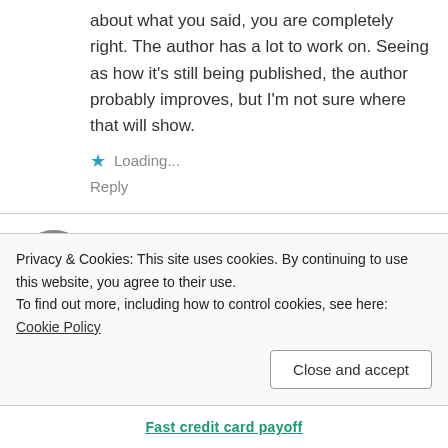about what you said, you are completely right. The author has a lot to work on. Seeing as how it's still being published, the author probably improves, but I'm not sure where that will show.
Loading...
Reply
midoyashii
October 28, 2017 at 5:48 am
Awaiting more. More please. Please
Thanks for the chapter.
Privacy & Cookies: This site uses cookies. By continuing to use this website, you agree to their use.
To find out more, including how to control cookies, see here: Cookie Policy
Close and accept
Fast credit card payoff